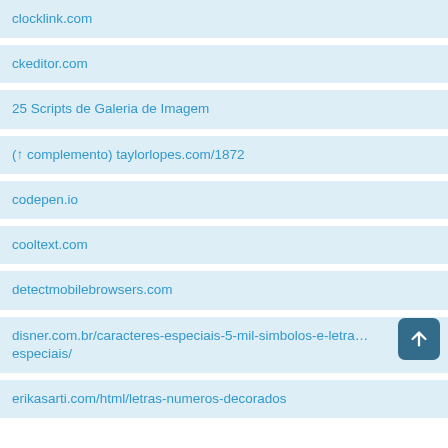clocklink.com
ckeditor.com
25 Scripts de Galeria de Imagem
(↑ complemento) taylorlopes.com/1872
codepen.io
cooltext.com
detectmobilebrowsers.com
disner.com.br/caracteres-especiais-5-mil-simbolos-e-letras-especiais/
erikasarti.com/html/letras-numeros-decorados